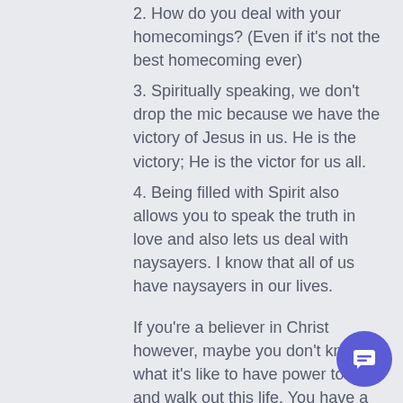2.  How do you deal with your homecomings?  (Even if it's not the best homecoming ever)
3.  Spiritually speaking, we don't drop the mic because we have the victory of Jesus in us.  He is the victory; He is the victor for us all.
4.  Being filled with Spirit also allows you to speak the truth in love and also lets us deal with naysayers.  I know that all of us have naysayers in our lives.
If you're a believer in Christ however, maybe you don't know what it's like to have power to live and walk out this life. You have a tough time at home. You can't see that you ha any victory.You have naysayer.